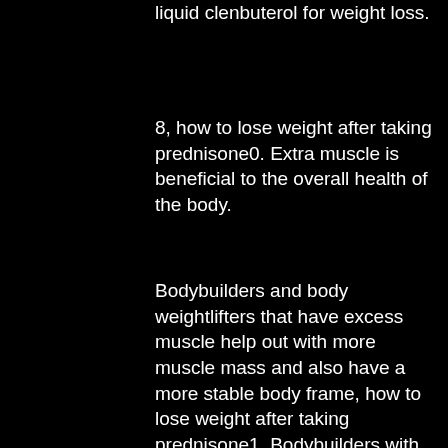liquid clenbuterol for weight loss.
8, how to lose weight after taking prednisone0. Extra muscle is beneficial to the overall health of the body.
Bodybuilders and body weightlifters that have excess muscle help out with more muscle mass and also have a more stable body frame, how to lose weight after taking prednisone1. Bodybuilders with excessive muscle also have less belly fat and have a more active lifestyle. Muscle-building is another type of muscle enhancement that helps in creating a more attractive physique, how to lose weight after taking prednisone2.
9, how to lose weight after taking prednisone3.